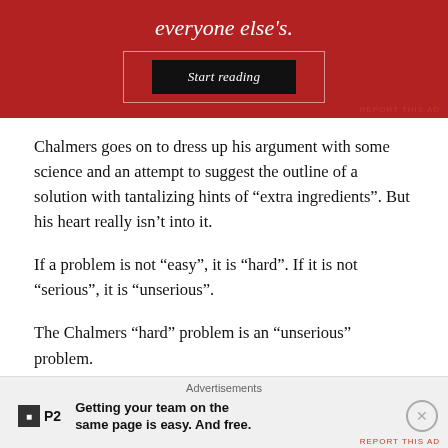[Figure (other): Red advertisement banner with italic text 'everyone else's.' and a dark 'Start reading' button, with 'REPORT THIS AD' label at bottom right]
Chalmers goes on to dress up his argument with some science and an attempt to suggest the outline of a solution with tantalizing hints of “extra ingredients”. But his heart really isn’t into it.
If a problem is not “easy”, it is “hard”. If it is not “serious”, it is “unserious”.
The Chalmers “hard” problem is an “unserious” problem.
[Figure (other): Bottom advertisement banner with P2 logo and text 'Getting your team on the same page is easy. And free.']